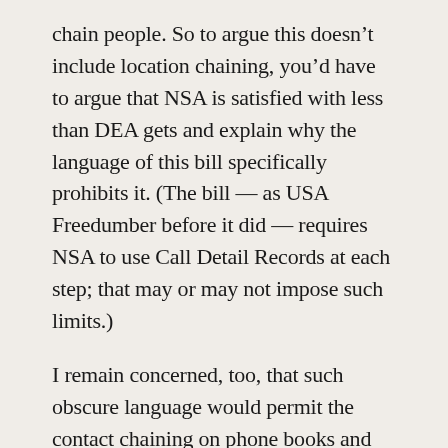chain people. So to argue this doesn't include location chaining, you'd have to argue that NSA is satisfied with less than DEA gets and explain why the language of this bill specifically prohibits it. (The bill — as USA Freedumber before it did — requires NSA to use Call Detail Records at each step; that may or may not impose such limits.)
I remain concerned, too, that such obscure language would permit the contact chaining on phone books and calendars, both things we know NSA obtains overseas, both things NSA might have access to through their newly immunized telecom partners.
In addition, Leahy's bill keeps USA Freedumber's retention language tied to Foreign Intelligence purpose, allowing the NSA to keep all records that